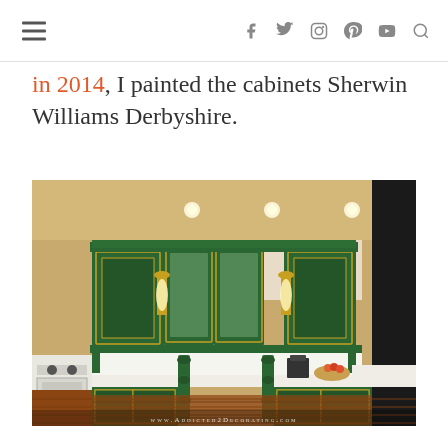≡  [social icons: Facebook, Twitter, Instagram, Pinterest, YouTube, Search]
in 2014, I painted the cabinets Sherwin Williams Derbyshire.
[Figure (photo): Kitchen with green painted cabinets (Sherwin Williams Derbyshire), glass-front upper cabinets with gold wall sconces, white countertops, white appliances, wood floors. Watermark: www.Addicted2Decorating.com]